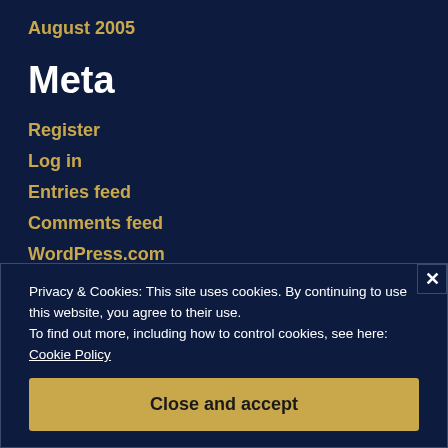August 2005
Meta
Register
Log in
Entries feed
Comments feed
WordPress.com
Advertisements
Privacy & Cookies: This site uses cookies. By continuing to use this website, you agree to their use. To find out more, including how to control cookies, see here: Cookie Policy
Close and accept